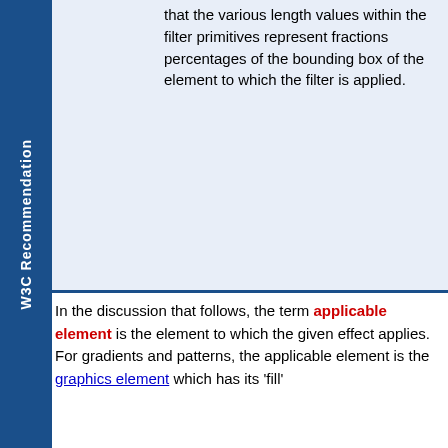W3C Recommendation
that the various length values within the filter primitives represent fractions percentages of the bounding box of the element to which the filter is applied.
In the discussion that follows, the term applicable element is the element to which the given effect applies. For gradients and patterns, the applicable element is the graphics element which has its 'fill'